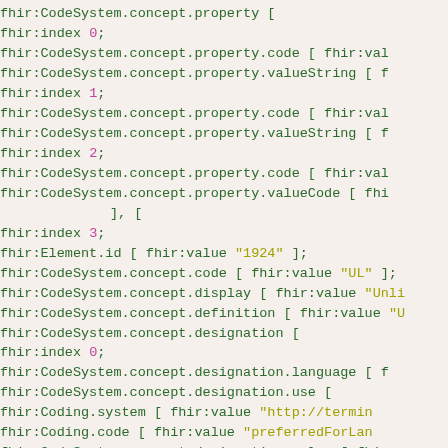fhir:CodeSystem.concept.property [
    fhir:index 0;
    fhir:CodeSystem.concept.property.code [ fhir:val
    fhir:CodeSystem.concept.property.valueString [ f
    fhir:index 1;
    fhir:CodeSystem.concept.property.code [ fhir:val
    fhir:CodeSystem.concept.property.valueString [ f
    fhir:index 2;
    fhir:CodeSystem.concept.property.code [ fhir:val
    fhir:CodeSystem.concept.property.valueCode [ fhi
], [
    fhir:index 3;
    fhir:Element.id [ fhir:value "1924" ];
    fhir:CodeSystem.concept.code [ fhir:value "UL" ];
    fhir:CodeSystem.concept.display [ fhir:value "Unli
    fhir:CodeSystem.concept.definition [ fhir:value "U
    fhir:CodeSystem.concept.designation [
        fhir:index 0;
        fhir:CodeSystem.concept.designation.language [ f
        fhir:CodeSystem.concept.designation.use [
            fhir:Coding.system [ fhir:value "http://termin
            fhir:Coding.code [ fhir:value "preferredForLan
        fhir:CodeSystem.concept.designation.value [ fhi